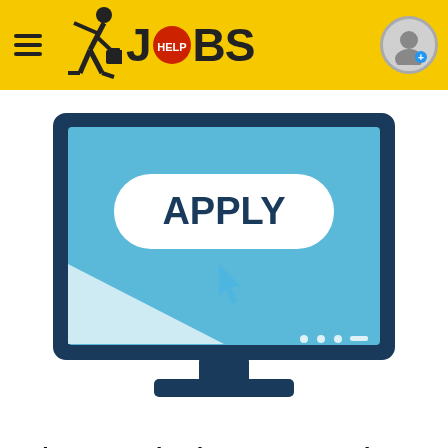JOBS - Help Jobs navigation header
[Figure (illustration): Computer monitor displaying an APPLY button with a cursor pointer, on a blue and white background. Navigation dots and dash at bottom of screen.]
Sales Executive (somerset West)
Job Mail - 1604179832
Our client in the food manufacturing sector is on the lookout for a suitable Sales Executive at their operation in Somerset-West. Requirements:  Reside in Som...
[Figure (illustration): Partial view of another computer monitor with blue background, partially visible at bottom of page.]